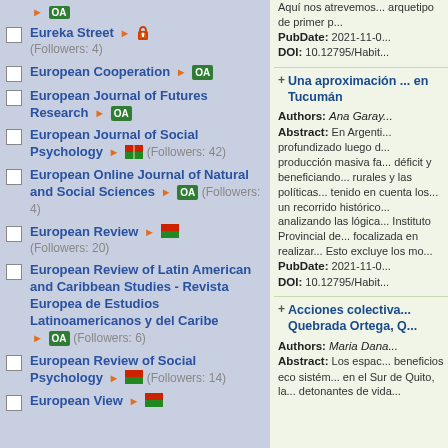OA badge (top)
Eureka Street (Followers: 4) - lock icon
European Cooperation OA
European Journal of Futures Research OA
European Journal of Social Psychology (Followers: 42)
European Online Journal of Natural and Social Sciences OA (Followers: 4)
European Review (Followers: 20)
European Review of Latin American and Caribbean Studies - Revista Europea de Estudios Latinoamericanos y del Caribe OA (Followers: 6)
European Review of Social Psychology (Followers: 14)
European View
Aquí nos atrevemos... arquetipo de primer p... PubDate: 2021-11-0... DOI: 10.12795/Habit...
Una aproximación ... en Tucumán - Authors: Ana Garay... Abstract: En Argenti... PubDate: 2021-11-0... DOI: 10.12795/Habit...
Acciones colectiva... Quebrada Ortega, Q... Authors: Maria Dana... Abstract: Los espac... beneficios eco sistém... en el Sur de Quito, la... detonantes de vida...